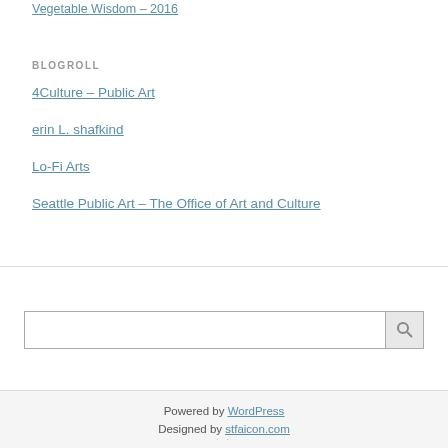Vegetable Wisdom – 2016
BLOGROLL
4Culture – Public Art
erin L. shafkind
Lo-Fi Arts
Seattle Public Art – The Office of Art and Culture
Powered by WordPress
Designed by stfaicon.com